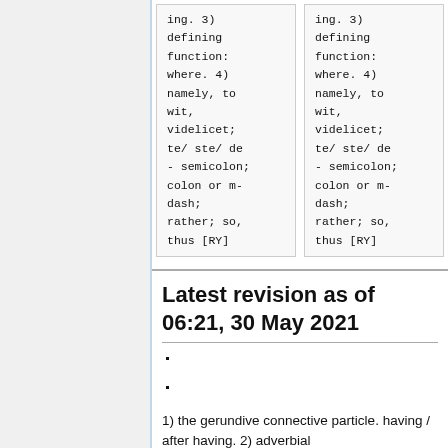| Column 1 | Column 2 |
| --- | --- |
| ing. 3) defining function: where. 4) namely, to wit, videlicet; te/ ste/ de - semicolon; colon or m-dash; rather; so, thus [RY] | ing. 3) defining function: where. 4) namely, to wit, videlicet; te/ ste/ de - semicolon; colon or m-dash; rather; so, thus [RY] |
Latest revision as of 06:21, 30 May 2021
1) the gerundive connective particle. having / after having. 2) adverbial